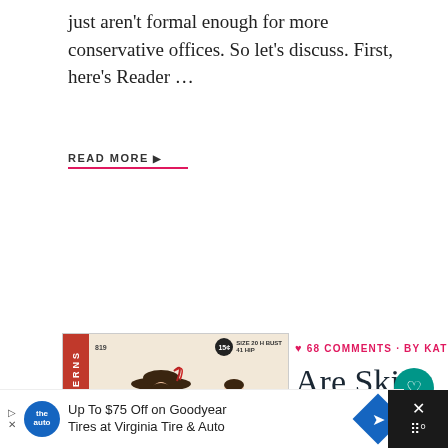just aren’t formal enough for more conservative offices. So let’s discuss. First, here’s Reader …
READ MORE ▶
[Figure (illustration): Vintage Hollywood Patterns sewing pattern cover showing two women in 1940s-style dresses, one in red and one in floral, with red sidebar reading HOLLYWOOD PATTERNS]
♥ 68 COMMENTS · BY KAT
Are Skirts and Dresses
[Figure (other): Teal circular heart/like button]
[Figure (other): Teal circular share button]
Up To $75 Off on Goodyear Tires at Virginia Tire & Auto